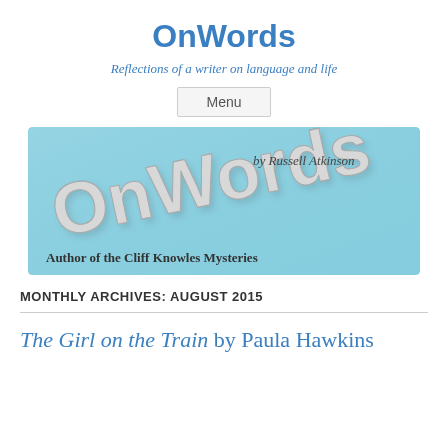OnWords
Reflections of a writer on language and life
Menu
[Figure (illustration): OnWords blog banner image with 3D text 'OnWords' on a light blue background. Text reads 'by Russell Atkinson' in upper right and 'Author of the Cliff Knowles Mysteries' in lower left.]
MONTHLY ARCHIVES: AUGUST 2015
The Girl on the Train by Paula Hawkins